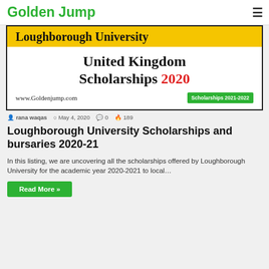Golden Jump
[Figure (illustration): Loughborough University United Kingdom Scholarships 2020 banner with golden yellow header bar and Scholarships 2021-2022 green badge and www.Goldenjump.com URL]
rana waqas  May 4, 2020  0  189
Loughborough University Scholarships and bursaries 2020-21
In this listing, we are uncovering all the scholarships offered by Loughborough University for the academic year 2020-2021 to local…
Read More »